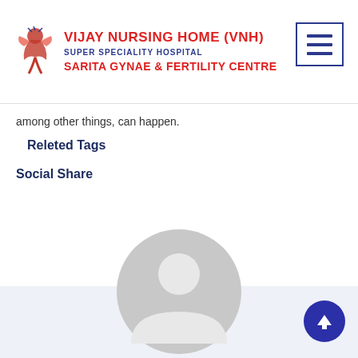[Figure (logo): Vijay Nursing Home (VNH) logo with bird/medical icon and hospital name]
among other things, can happen.
Releted Tags
Social Share
[Figure (illustration): Generic grey user/avatar silhouette icon]